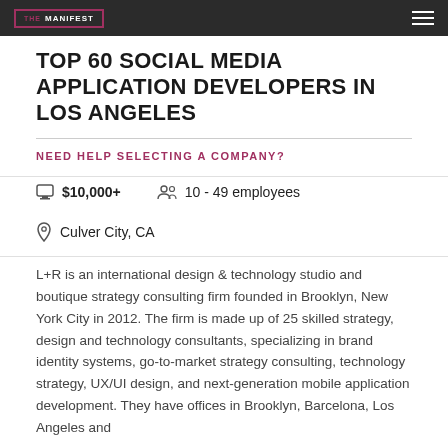THE MANIFEST
TOP 60 SOCIAL MEDIA APPLICATION DEVELOPERS IN LOS ANGELES
NEED HELP SELECTING A COMPANY?
$10,000+   10 - 49 employees   Culver City, CA
L+R is an international design & technology studio and boutique strategy consulting firm founded in Brooklyn, New York City in 2012. The firm is made up of 25 skilled strategy, design and technology consultants, specializing in brand identity systems, go-to-market strategy consulting, technology strategy, UX/UI design, and next-generation mobile application development. They have offices in Brooklyn, Barcelona, Los Angeles and